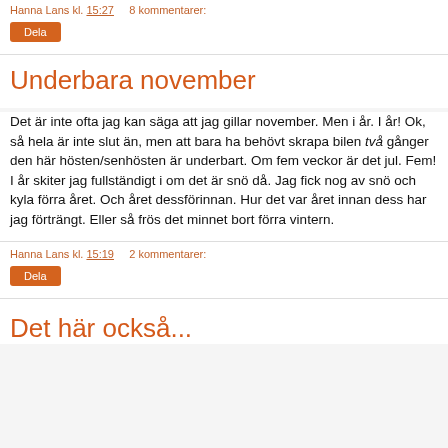Hanna Lans kl. 15:27    8 kommentarer:
Dela
Underbara november
Det är inte ofta jag kan säga att jag gillar november. Men i år. I år! Ok, så hela är inte slut än, men att bara ha behövt skrapa bilen två gånger den här hösten/senhösten är underbart. Om fem veckor är det jul. Fem! I år skiter jag fullständigt i om det är snö då. Jag fick nog av snö och kyla förra året. Och året dessförinnan. Hur det var året innan dess har jag förträngt. Eller så frös det minnet bort förra vintern.
Hanna Lans kl. 15:19    2 kommentarer:
Dela
Det här också...